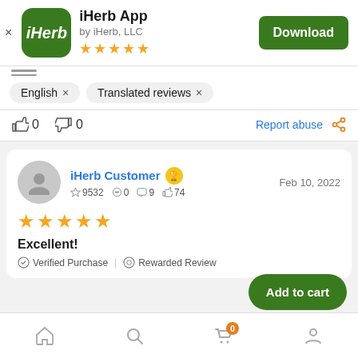[Figure (screenshot): iHerb app store listing screenshot showing app icon, name, Download button, filter chips, thumbs up/down row, and a customer review card with star rating, Excellent! title, verified purchase and rewarded review badges, plus bottom navigation bar]
iHerb App
by iHerb, LLC
★★★★★
English ×   Translated reviews ×
👍 0   👎 0   Report abuse   🔗
iHerb Customer   🏆   Feb 10, 2022
☆ 9532   📷 0   💬 9   👍 74
★★★★★
Excellent!
✓ Verified Purchase  |  ⊛ Rewarded Review